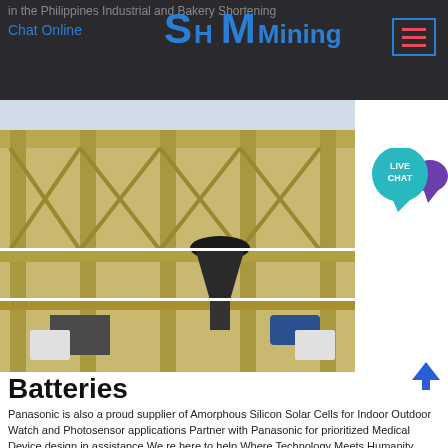in the Philippines Industrial and Bakery Shortening
Chat Online
[Figure (logo): SHM Mining logo in blue text]
[Figure (photo): Industrial mining/processing equipment facility with yellow steel structure, conveyors, and processing machinery photographed outdoors]
[Figure (infographic): Live Chat speech bubble button in teal/cyan color]
Batteries
Panasonic is also a proud supplier of Amorphous Silicon Solar Cells for Indoor Outdoor Watch and Photosensor applications Partner with Panasonic for prioritized Medical Device design in assistance We re here to help Where Technology Meets Humanity Products Batteries Panasonic offers a wide product assortment of Rechargeable and Non Rechargeable Batteries including Lithium Ion Nickel
Chat Online
[Figure (photo): Partial view of orange/red industrial equipment structure at bottom of page]